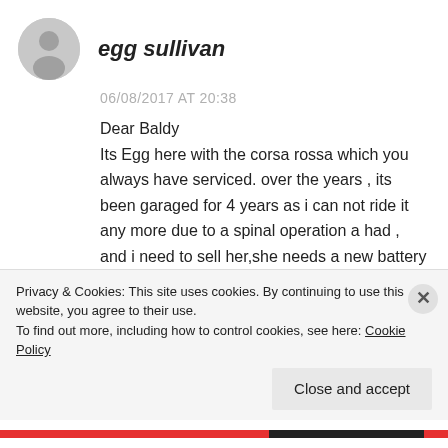[Figure (illustration): Grey circular avatar/profile icon with a generic silhouette of a person]
egg sullivan
06/08/2017 AT 20:38
Dear Baldy
Its Egg here with the corsa rossa which you always have serviced. over the years , its been garaged for 4 years as i can not ride it any more due to a spinal operation a had , and i need to sell her,she needs a new battery and the bloody forks are leaking again, you have all ready done
Privacy & Cookies: This site uses cookies. By continuing to use this website, you agree to their use.
To find out more, including how to control cookies, see here: Cookie Policy
Close and accept